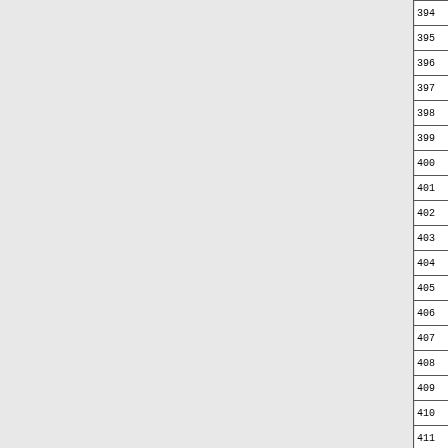| # | AA | c1 | c2 | c3 | c4 | c5 | c6 | c7 | c8 | c9 | c10 | c11 | c12+ |
| --- | --- | --- | --- | --- | --- | --- | --- | --- | --- | --- | --- | --- | --- |
| 394 | D | -2 | -1 | -1 | 4 | -5 | 3 | 3 | -4 | 4 | -3 | -4 | 0 |
| 395 | A | 3 | -4 | -4 | -5 | 2 | -4 | -4 | -3 | -4 | 0 | 4 | -4 |
| 396 | K | -2 | 0 | -2 | 0 | -4 | 0 | 0 | -4 | -2 | 0 | 0 | 3 |
| 397 | E | -1 | 0 | 0 | 4 | -3 | 3 | 5 | -3 | -1 | -3 | -3 | 0 |
| 398 | K | 0 | 0 | -2 | -1 | -4 | 1 | -1 | -4 | -4 | 3 | 1 | 4 |
| 399 | V | 1 | -4 | -4 | -4 | 0 | -3 | -3 | -4 | -4 | 0 | 3 | -4 |
| 400 | R | -1 | 5 | -1 | 1 | -5 | 1 | 2 | -1 | 1 | -1 | -4 | 2 |
| 401 | N | 0 | 0 | 0 | 1 | -2 | 2 | 3 | -1 | -3 | -1 | -2 | 2 |
| 402 | F | -3 | -4 | -3 | 3 | -4 | -3 | -3 | -4 | -3 | 0 | 0 | -4 |
| 403 | A | 4 | -3 | -3 | -3 | 0 | -2 | -1 | 0 | -2 | 2 | 1 | -3 |
| 404 | A | 2 | 0 | 2 | 1 | -2 | 1 | 1 | -1 | -2 | -3 | -2 | 1 |
| 405 | T | 1 | 0 | -1 | -2 | -4 | 2 | -2 | -1 | 1 | -3 | 0 | 1 |
| 406 | I | 0 | -3 | -4 | -5 | -1 | -2 | -3 | -1 | -4 | 4 | 2 | -3 |
| 407 | P | -1 | -1 | -2 | 0 | 0 | 3 | 0 | -2 | 1 | -2 | -1 | 2 |
| 408 | R | 0 | 6 | -3 | 0 | -4 | -1 | -1 | -2 | 0 | -1 | -1 | 3 |
| 409 | P | -3 | -1 | -2 | 4 | -5 | 1 | 2 | -4 | -4 | -4 | -3 | -1 |
| 410 | F | -3 | -5 | -3 | -3 | -5 | -5 | -4 | -5 | 2 | -3 | 0 | -5 |
| 411 | S | 3 | -3 | -2 | -1 | -4 | -1 | 1 | 2 | -1 | 0 | -3 | -1 |